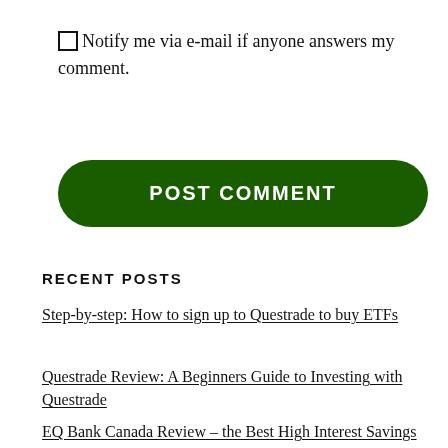Notify me via e-mail if anyone answers my comment.
[Figure (other): Green rounded POST COMMENT button]
RECENT POSTS
Step-by-step: How to sign up to Questrade to buy ETFs
Questrade Review: A Beginners Guide to Investing with Questrade
EQ Bank Canada Review – the Best High Interest Savings Account in Canada?